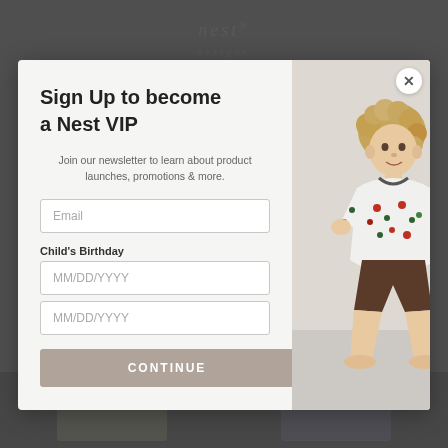[Figure (screenshot): Website background showing Nest brand logo and gray backdrop with product images at bottom]
Sign Up to become a Nest VIP
Join our newsletter to learn about product launches, promotions & more.
Email
Child's Birthday
MM/DD/YYYY
MM/DD/YYYY
CONTINUE
[Figure (photo): Young toddler child with curly blond hair sitting, wearing a white long-sleeve shirt with colorful animal print and dark shorts, barefoot]